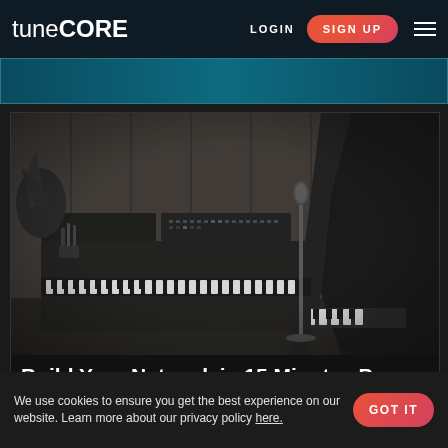tuneCORE — LOGIN   SIGN UP
[Figure (screenshot): TuneCore website navigation header with logo, LOGIN and SIGN UP buttons, and hamburger menu on dark navy background]
[Figure (photo): Black and white photograph of a bearded musician wearing a cap, seated at a grand piano in a recording studio with a keyboard/organ and audio equipment in the background, in front of a microphone]
Build Your Network in 15 Minutes Per Day
We use cookies to ensure you get the best experience on our website. Learn more about our privacy policy here.